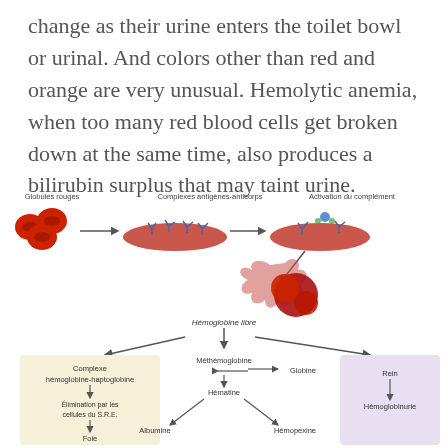change as their urine enters the toilet bowl or urinal. And colors other than red and orange are very unusual. Hemolytic anemia, when too many red blood cells get broken down at the same time, also produces a bilirubin surplus that may taint urine.
[Figure (flowchart): Medical diagram showing hemolytic process: Globules rouges (red blood cells) → Complexes antigènes-anticorps → Activation du complément → Hémoglobine libre → three pathways: (1) Complexe hémoglobine-haptoglobine → Élimination par les cellules du S.R.E. → Foie, (2) Méthémoglobine ↔ Globine, Hématine → Albumine and Hémopexine, (3) Rein → Hémoglobinurie]